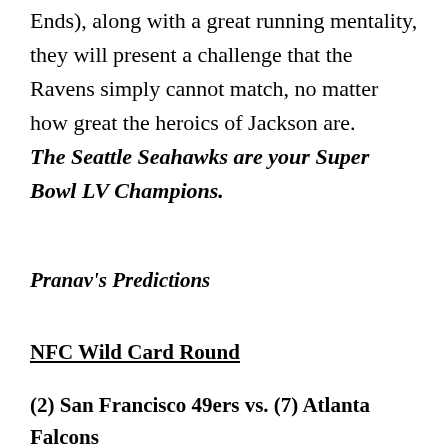Ends), along with a great running mentality, they will present a challenge that the Ravens simply cannot match, no matter how great the heroics of Jackson are. The Seattle Seahawks are your Super Bowl LV Champions.
Pranav's Predictions
NFC Wild Card Round
(2) San Francisco 49ers vs. (7) Atlanta Falcons